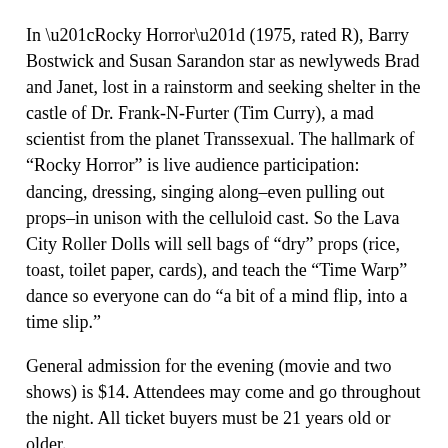In “Rocky Horror” (1975, rated R), Barry Bostwick and Susan Sarandon star as newlyweds Brad and Janet, lost in a rainstorm and seeking shelter in the castle of Dr. Frank-N-Furter (Tim Curry), a mad scientist from the planet Transsexual. The hallmark of “Rocky Horror” is live audience participation: dancing, dressing, singing along–even pulling out props–in unison with the celluloid cast. So the Lava City Roller Dolls will sell bags of “dry” props (rice, toast, toilet paper, cards), and teach the “Time Warp” dance so everyone can do “a bit of a mind flip, into a time slip.”
General admission for the evening (movie and two shows) is $14. Attendees may come and go throughout the night. All ticket buyers must be 21 years old or older.
The Tower Theatre Foundation owns and operates the historic stage in downtown Bend. The Foundation’s mission is to provide performing arts, civic, educational and social events that enliven and enrich the lives of all Central Oregonians.
Membership, program information and individual and group